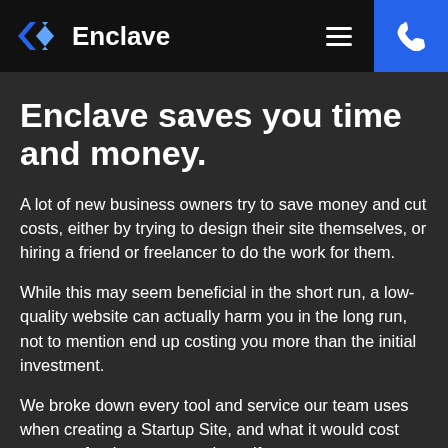Enclave
Enclave saves you time and money.
A lot of new business owners try to save money and cut costs, either by trying to design their site themselves, or hiring a friend or freelancer to do the work for them.
While this may seem beneficial in the short run, a low-quality website can actually harm you in the long run, not to mention end up costing you more than the initial investment.
We broke down every tool and service our team uses when creating a Startup Site, and what it would cost you or a freelancer to purchase if you were